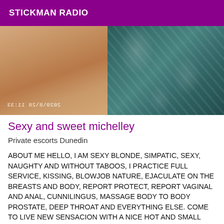STICKMAN RADIO
[Figure (photo): Close-up photo of a person's body near bedding with a teal/green patterned fabric. A timestamp '2020\8\28 11:33' is visible mirrored in the lower left.]
Sexy and sweet michelley
Private escorts Dunedin
ABOUT ME HELLO, I AM SEXY BLONDE, SIMPATIC, SEXY, NAUGHTY AND WITHOUT TABOOS, I PRACTICE FULL SERVICE, KISSING, BLOWJOB NATURE, EJACULATE ON THE BREASTS AND BODY, REPORT PROTECT, REPORT VAGINAL AND ANAL, CUNNILINGUS, MASSAGE BODY TO BODY PROSTATE, DEEP THROAT AND EVERYTHING ELSE. COME TO LIVE NEW SENSACION WITH A NICE HOT AND SMALL BLOND WELL AS NEVER. IF YOU ARE